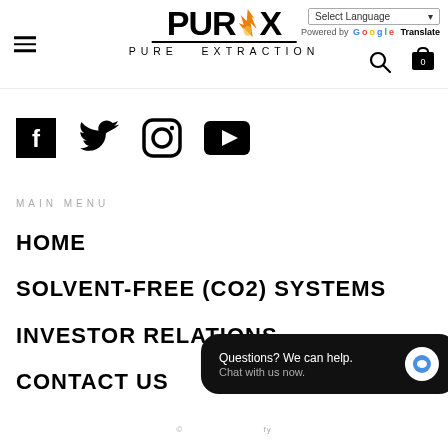[Figure (logo): PURX Pure Extraction logo with flame icon and underline]
Select Language
Powered by Google Translate
[Figure (illustration): Social media icons: Facebook, Twitter, Instagram, YouTube]
MAIN MENU
HOME
SOLVENT-FREE (CO2) SYSTEMS
INVESTOR RELATIONS
CONTACT US
[Figure (screenshot): Chat popup: Questions? We can help. Chat with us now.]